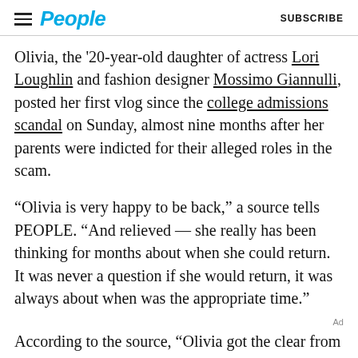People  SUBSCRIBE
Olivia, the '20-year-old daughter of actress Lori Loughlin and fashion designer Mossimo Giannulli, posted her first vlog since the college admissions scandal on Sunday, almost nine months after her parents were indicted for their alleged roles in the scam.
“Olivia is very happy to be back,” a source tells PEOPLE. “And relieved — she really has been thinking for months about when she could return. It was never a question if she would return, it was always about when was the appropriate time.”
According to the source, “Olivia got the clear from her parents and their lawyer team.”